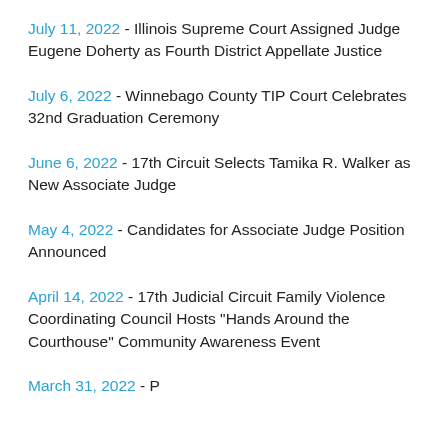July 11, 2022 - Illinois Supreme Court Assigned Judge Eugene Doherty as Fourth District Appellate Justice
July 6, 2022 - Winnebago County TIP Court Celebrates 32nd Graduation Ceremony
June 6, 2022 - 17th Circuit Selects Tamika R. Walker as New Associate Judge
May 4, 2022 - Candidates for Associate Judge Position Announced
April 14, 2022 - 17th Judicial Circuit Family Violence Coordinating Council Hosts "Hands Around the Courthouse" Community Awareness Event
March 31, 2022 - ...